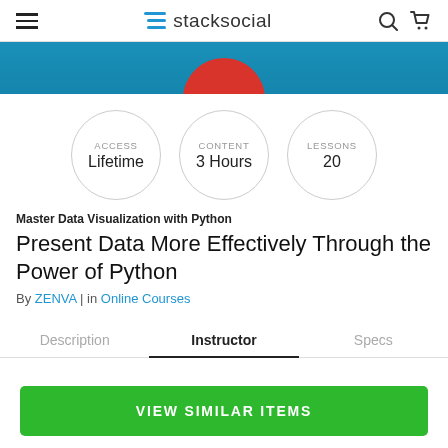stacksocial
[Figure (illustration): Blue banner with partial red character visible at bottom center]
ACCESS Lifetime | CONTENT 3 Hours | LESSONS 20
Master Data Visualization with Python
Present Data More Effectively Through the Power of Python
By ZENVA | in Online Courses
Description | Instructor | Specs
VIEW SIMILAR ITEMS